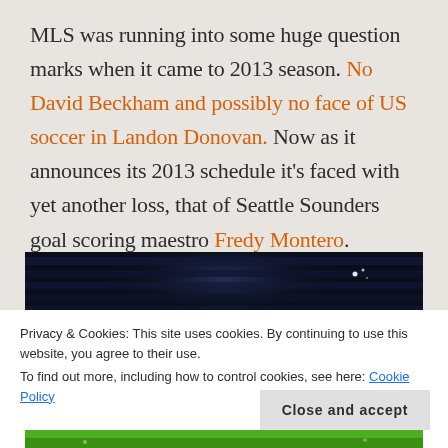MLS was running into some huge question marks when it came to 2013 season. No David Beckham and possibly no face of US soccer in Landon Donovan. Now as it announces its 2013 schedule it's faced with yet another loss, that of Seattle Sounders goal scoring maestro Fredy Montero.
[Figure (photo): Dark stadium crowd photo showing silhouettes of fans with raised hands against dark blue stadium background with small light dots]
Privacy & Cookies: This site uses cookies. By continuing to use this website, you agree to their use.
To find out more, including how to control cookies, see here: Cookie Policy
Close and accept
[Figure (photo): Green grass or jersey strip visible at very bottom of page]